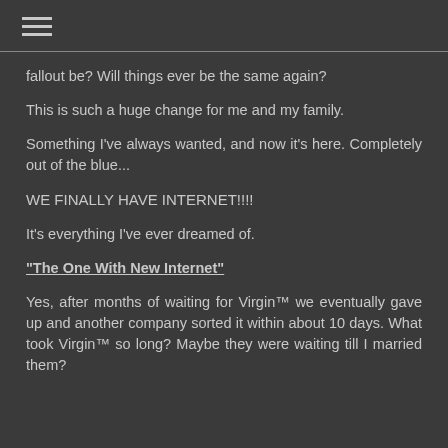☰
fallout be? Will things ever be the same again?
This is such a huge change for me and my family.
Something I've always wanted, and now it's here. Completely out of the blue...
WE FINALLY HAVE INTERNET!!!!
It's everything I've ever dreamed of.
"The One With New Internet"
Yes, after months of waiting for Virgin™ we eventually gave up and another company sorted it within about 10 days. What took Virgin™ so long? Maybe they were waiting till I married them?